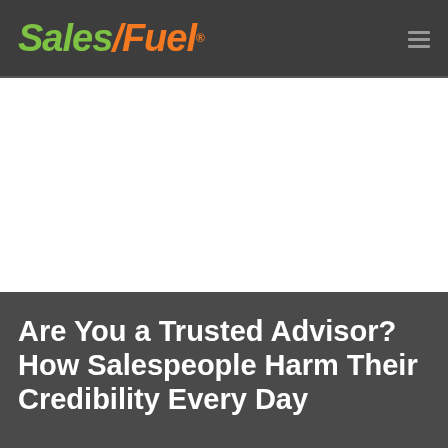SalesFuel®
Are You a Trusted Advisor? How Salespeople Harm Their Credibility Every Day